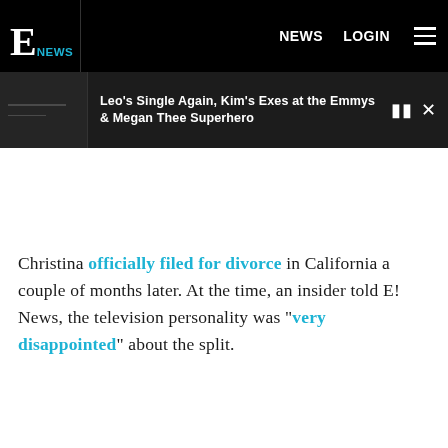E! NEWS  NEWS  LOGIN
Leo's Single Again, Kim's Exes at the Emmys & Megan Thee Superhero
Christina officially filed for divorce in California a couple of months later. At the time, an insider told E! News, the television personality was "very disappointed" about the split.